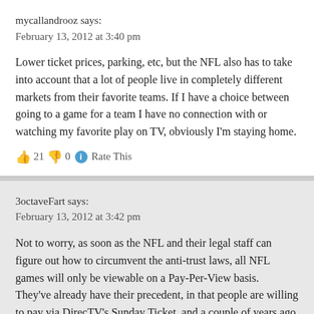mycallandrooz says:
February 13, 2012 at 3:40 pm
Lower ticket prices, parking, etc, but the NFL also has to take into account that a lot of people live in completely different markets from their favorite teams. If I have a choice between going to a game for a team I have no connection with or watching my favorite play on TV, obviously I'm staying home.
👍 21 👎 0 ℹ Rate This
3octaveFart says:
February 13, 2012 at 3:42 pm
Not to worry, as soon as the NFL and their legal staff can figure out how to circumvent the anti-trust laws, all NFL games will only be viewable on a Pay-Per-View basis.
They've already have their precedent, in that people are willing to pay via DirecTV's Sunday Ticket, and a couple of years ago they started offering individual weekends, as opposed to